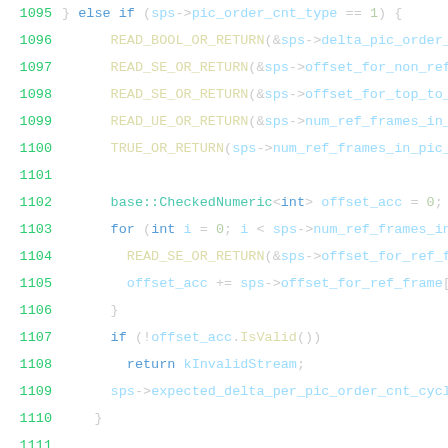[Figure (screenshot): Source code screenshot showing C++ code lines 1095-1116 with syntax highlighting. Line numbers in green on left, code in various colors on white background. Keywords in blue, function names in yellow, types in teal, numbers in light green, parameters in light blue.]